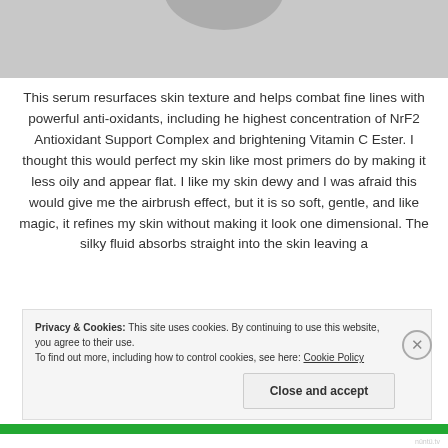[Figure (photo): Partial product photo at top of page, cropped]
This serum resurfaces skin texture and helps combat fine lines with powerful anti-oxidants, including he highest concentration of NrF2 Antioxidant Support Complex and brightening Vitamin C Ester. I thought this would perfect my skin like most primers do by making it less oily and appear flat. I like my skin dewy and I was afraid this would give me the airbrush effect, but it is so soft, gentle, and like magic, it refines my skin without making it look one dimensional. The silky fluid absorbs straight into the skin leaving a
Privacy & Cookies: This site uses cookies. By continuing to use this website, you agree to their use.
To find out more, including how to control cookies, see here: Cookie Policy
Close and accept